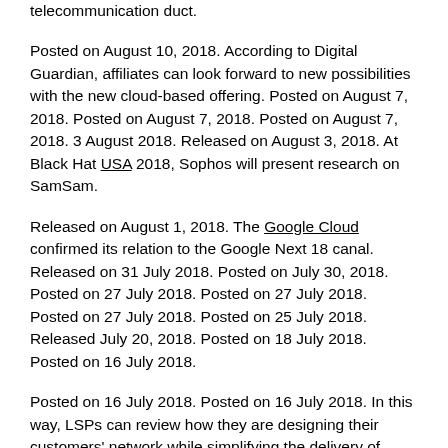telecommunication duct.
Posted on August 10, 2018. According to Digital Guardian, affiliates can look forward to new possibilities with the new cloud-based offering. Posted on August 7, 2018. Posted on August 7, 2018. Posted on August 7, 2018. 3 August 2018. Released on August 3, 2018. At Black Hat USA 2018, Sophos will present research on SamSam.
Released on August 1, 2018. The Google Cloud confirmed its relation to the Google Next 18 canal. Released on 31 July 2018. Posted on July 30, 2018. Posted on 27 July 2018. Posted on 27 July 2018. Posted on 27 July 2018. Posted on 25 July 2018. Released July 20, 2018. Posted on 18 July 2018. Posted on 16 July 2018.
Posted on 16 July 2018. Posted on 16 July 2018. In this way, LSPs can review how they are designing their customers' network while simplifying the delivery of them. Posted on 13 July 2018. Posted on 13 July 2018. Released on 12 July 2018. Bob Skelley, CEO of the Channels Company, provides advice on how to bridge the gaps between distribution and market organisations in channels.